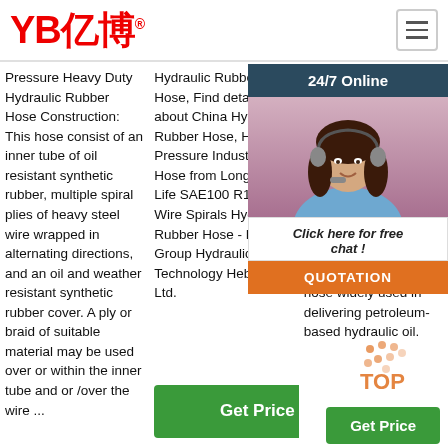[Figure (logo): YB亿博 company logo in red with registered trademark symbol, and hamburger menu icon on the right]
Pressure Heavy Duty Hydraulic Rubber Hose Construction: This hose consist of an inner tube of oil resistant synthetic rubber, multiple spiral plies of heavy steel wire wrapped in alternating directions, and an oil and weather resistant synthetic rubber cover. A ply or braid of suitable material may be used over or within the inner tube and or /over the wire ...
Hydraulic Rubber Hose, Find details about China Hydraulic Rubber Hose, High Pressure Industrial Hose from Long Using Life SAE100 R15 Steel Wire Spirals Hydraulic Rubber Hose - Hengyu Group Hydraulic Fluid Technology Hebei Co., Ltd.
spiraled hydraulic hose widely used in hydraulic systems worldwide and delivering petroleum-based hydraulic components and parts with reinforced cover made of weather resistant synthetic rubber, making the hose widely used in delivering petroleum-based hydraulic oil.
[Figure (photo): Customer service representative woman wearing headset, smiling, with 24/7 Online header, Click here for free chat message, and QUOTATION orange button]
[Figure (other): TOP watermark logo with orange dots pattern]
Get Price
Get Price